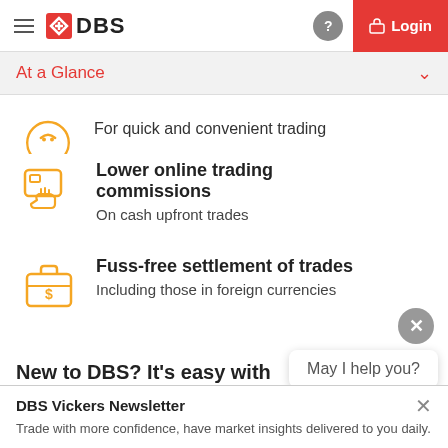DBS — Login
At a Glance
For quick and convenient trading
Lower online trading commissions — On cash upfront trades
Fuss-free settlement of trades — Including those in foreign currencies
New to DBS? It's easy with digibanking
You can open a personal My Account using MyInfo...
May I help you?
DBS Vickers Newsletter — Trade with more confidence, have market insights delivered to you daily.